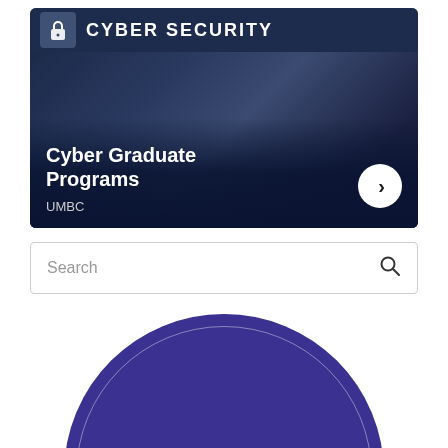[Figure (photo): Cyber security promotional banner card with dark background, person pointing finger, lock icon, and 'CYBER SECURITY' header text. Shows 'Cyber Graduate Programs' title with UMBC institution label and a forward arrow button.]
Search
[Figure (logo): Official Festival No. 6 circular badge/logo with dark purple/indigo background, white text reading 'OFFICIAL' and 'FESTIVAL No6']